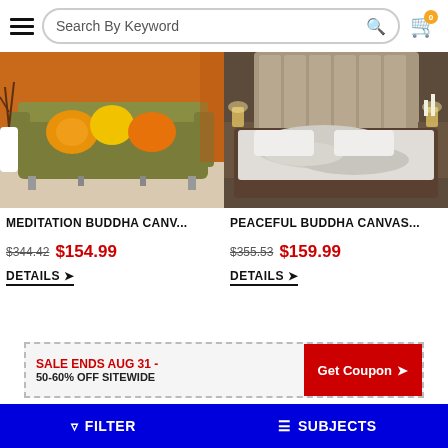Search By Keyword
[Figure (photo): Olive green sofa with orange/yellow cushions against orange curtains]
MEDITATION BUDDHA CANV...
$344.42  $154.99
DETAILS ›
[Figure (photo): Gray upholstered bed with white bedding against a paneled headboard]
PEACEFUL BUDDHA CANVAS...
$355.53  $159.99
DETAILS ›
SALE ENDS AUG 31 - 50-60% OFF SITEWIDE
Get Coupon ›
FILTER   SUBJECTS